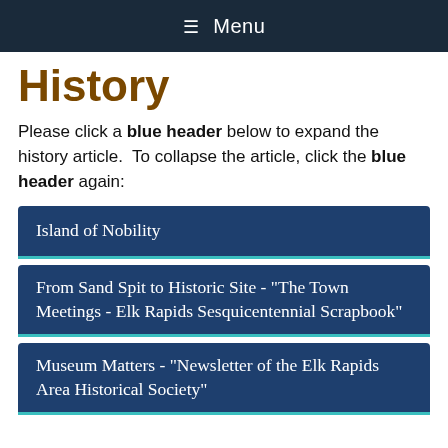≡ Menu
History
Please click a blue header below to expand the history article.  To collapse the article, click the blue header again:
Island of Nobility
From Sand Spit to Historic Site - "The Town Meetings - Elk Rapids Sesquicentennial Scrapbook"
Museum Matters - "Newsletter of the Elk Rapids Area Historical Society"